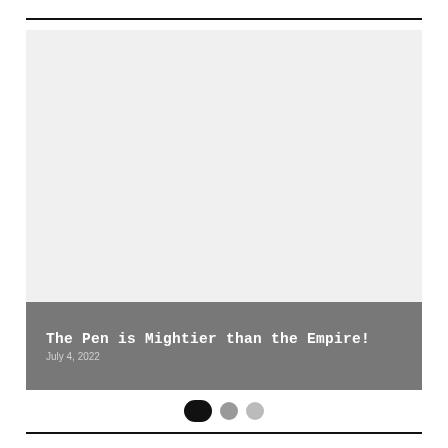[Figure (photo): Hero image area with light gray placeholder background above a dark gray caption bar]
The Pen is Mightier than the Empire!
July 4, 2022
[Figure (other): Carousel navigation dots: one active pill-shaped black dot and two smaller gray dots]
The Pen is Mightier than the Empire!
Life (and everything else) is a movie...